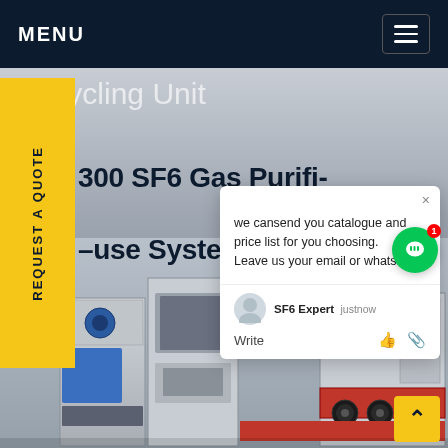MENU
Recycling Unit
300 SF6 Gas Purifi... for -use System
REQUEST A QUOTE
[Figure (photo): Industrial SF6 gas purification and recycling machine units, gray metal cabinets with blue compressor, red base unit with fans and control panels, displayed in a product showcase setting.]
we cansend you catalogue and price list for you choosing.
Leave us your email or whatsapp.
SF6 Expert   justnow
Write